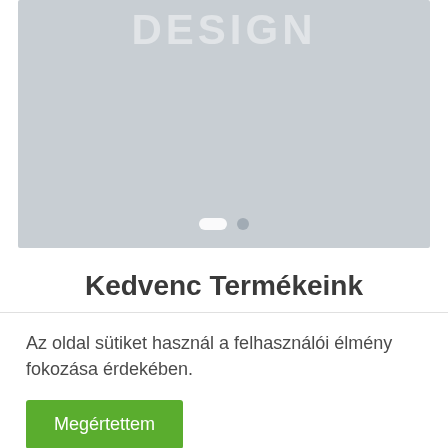[Figure (screenshot): Gray image slider placeholder with 'DESIGN' watermark text and two pagination dots at the bottom (one white pill-shaped active dot, one gray circular inactive dot)]
Kedvenc Termékeink
Az oldal sütiket használ a felhasználói élmény fokozása érdekében.
Megértettem